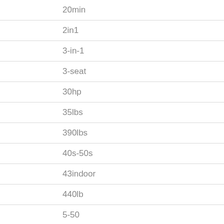20min
2in1
3-in-1
3-seat
30hp
35lbs
390lbs
40s-50s
43indoor
440lb
5-50
550lb